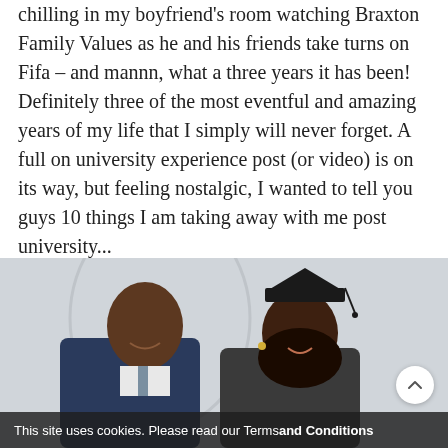chilling in my boyfriend's room watching Braxton Family Values as he and his friends take turns on Fifa – and mannn, what a three years it has been! Definitely three of the most eventful and amazing years of my life that I simply will never forget. A full on university experience post (or video) is on its way, but feeling nostalgic, I wanted to tell you guys 10 things I am taking away with me post university...
[Figure (photo): A man in a navy suit and a woman wearing a black graduation cap, smiling together in what appears to be a graduation ceremony setting with a light grey background.]
This site uses cookies. Please read our Terms and Conditions